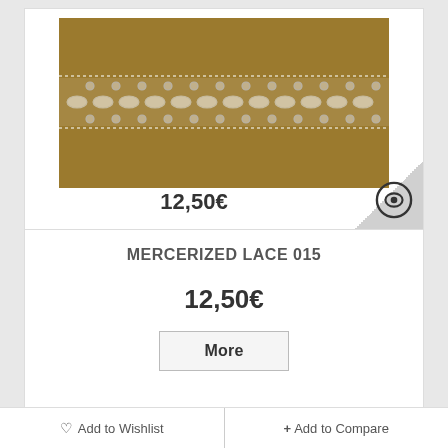[Figure (photo): Product photo of mercerized lace on a tan/brown background, showing a white lace strip in the center]
12,50€
MERCERIZED LACE 015
12,50€
More
Add to Wishlist  +Add to Compare